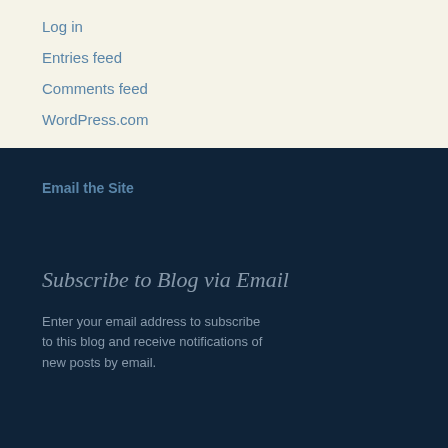Log in
Entries feed
Comments feed
WordPress.com
Email the Site
Subscribe to Blog via Email
Enter your email address to subscribe to this blog and receive notifications of new posts by email.